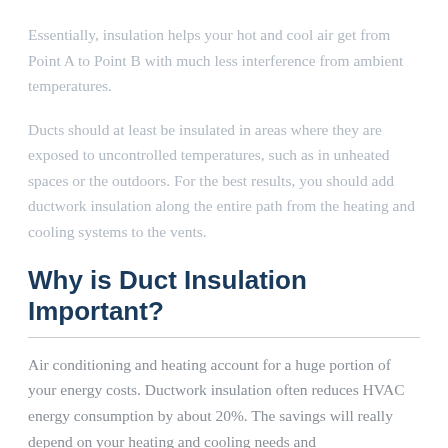Essentially, insulation helps your hot and cool air get from Point A to Point B with much less interference from ambient temperatures.
Ducts should at least be insulated in areas where they are exposed to uncontrolled temperatures, such as in unheated spaces or the outdoors. For the best results, you should add ductwork insulation along the entire path from the heating and cooling systems to the vents.
Why is Duct Insulation Important?
Air conditioning and heating account for a huge portion of your energy costs. Ductwork insulation often reduces HVAC energy consumption by about 20%. The savings will really depend on your heating and cooling needs and